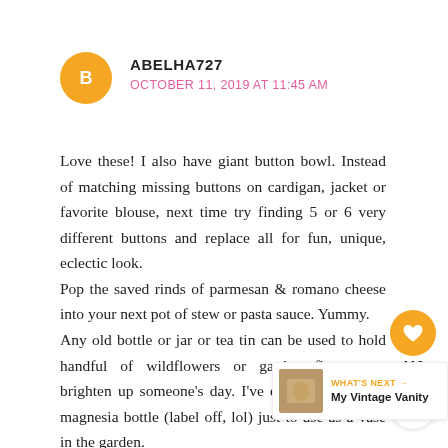[Figure (other): Blogger avatar icon — orange circle with white 'B' logo]
ABELHA727
OCTOBER 11, 2019 AT 11:45 AM
Love these! I also have giant button bowl. Instead of matching missing buttons on cardigan, jacket or favorite blouse, next time try finding 5 or 6 very different buttons and replace all for fun, unique, eclectic look.
Pop the saved rinds of parmesan & romano cheese into your next pot of stew or pasta sauce. Yummy.
Any old bottle or jar or tea tin can be used to hold handful of wildflowers or garden flowers to brighten up someone's day. I've even blue milk of magnesia bottle (label off, lol) just to use as a vase in the garden.